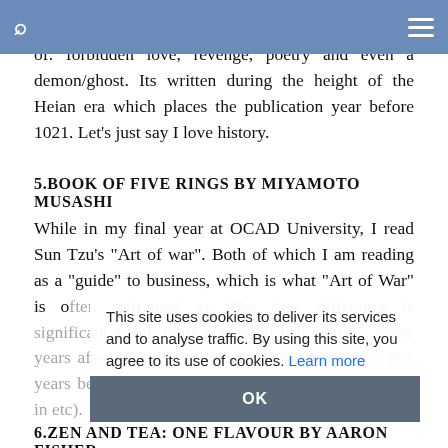Search | Menu
novel. In contrast to the previous book this one is full of: forbidden love, revenge, poetry and even a demon/ghost. Its written during the height of the Heian era which places the publication year before 1021. Let's just say I love history.
5.BOOK OF FIVE RINGS BY MIYAMOTO MUSASHI
While in my final year at OCAD University, I read Sun Tzu's "Art of war". Both of which I am reading as a "guide" to business, which is what "Art of War" is often re-framed as. The time difference is significant as this book was published in 1645, many years after "Art of War". A time that was just a few years before big changes in Japan (letting foreigners in etc).
This site uses cookies to deliver its services and to analyse traffic. By using this site, you agree to its use of cookies. Learn more
OK
6.ZEN AND TEA: ONE FLAVOUR BY AARON FISHER